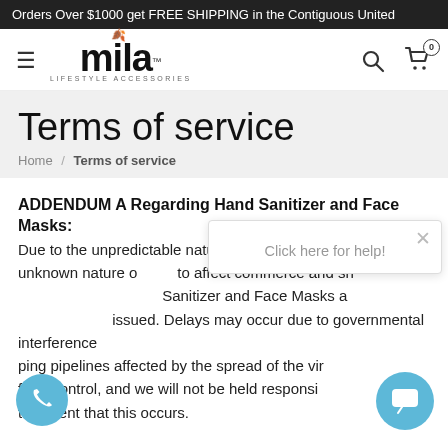Orders Over $1000 get FREE SHIPPING in the Contiguous United
[Figure (logo): Mila Lifestyle Accessories logo with navigation icons (hamburger menu, search, cart with 0 badge)]
Terms of service
Home / Terms of service
ADDENDUM A Regarding Hand Sanitizer and Face Masks:
Due to the unpredictable nature of governing bodies and the unknown nature of how the COVID-19 pandemic continues to affect commerce and shipping, all purchases regarding Hand Sanitizer and Face Masks are contingent on the available stock when issued. Delays may occur due to governmental interference in shipping pipelines affected by the spread of the virus outside of our control, and we will not be held responsible in the event that this occurs.
[Figure (screenshot): Chat popup widget with 'Click here for help!' text and X close button]
[Figure (other): Phone floating action button (blue circle with phone icon)]
[Figure (other): Chat floating action button (blue circle with chat icon)]